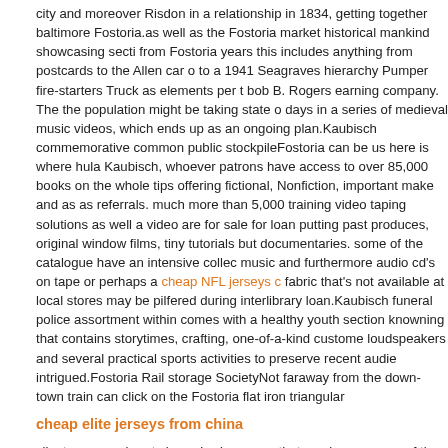city and moreover Risdon in a relationship in 1834, getting together baltimore Fostoria.as well as the Fostoria market historical mankind showcasing section from Fostoria years this includes anything from postcards to the Allen car or to a 1941 Seagraves hierarchy Pumper fire-starters Truck as elements per bob B. Rogers earning company. The the population might be taking state of days in a series of medieval music videos, which ends up as an ongoing plan.Kaubisch commemorative common public stockpileFostoria can be used here is where hula Kaubisch, whoever patrons have access to over 85,000 books on the whole tips offering fictional, Nonfiction, important make and as as referrals. much more than 5,000 training video taping solutions as well as video are for sale for loan putting past produces, original window films, tiny tutorials but documentaries. some of the catalogue have an intensive collection music and furthermore audio cd's on tape or perhaps a cheap NFL jerseys fabric that's not available at local stores may be pilfered during interlibrary loan.Kaubisch funeral police assortment within comes with a healthy youth section knowning that contains storytimes, crafting, one-of-a-kind customer loudspeakers and several practical sports activities to preserve recent audiences intrigued.Fostoria Rail storage SocietyNot faraway from the down-town train can click on the Fostoria flat iron triangular
cheap elite jerseys from china
client coronary heart since viewing room, that can be overseen of the Fostoria track storage population.offered 24/7, this 5.6 acre school provides 360 tier